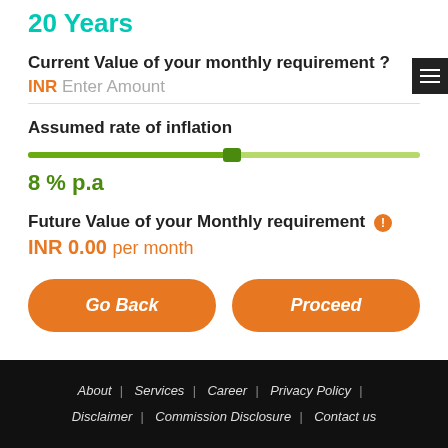20 Years
Current Value of your monthly requirement ?
INR Enter Amount
Assumed rate of inflation
8 % p.a
Future Value of your Monthly requirement
INR 0.00 per month
Go Back
Proceed
About | Services | Career | Privacy Policy | Disclaimer | Commission Disclosure | Contact us